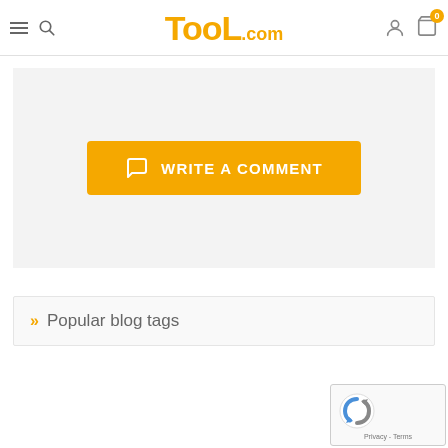Tool.com header with hamburger menu, search icon, logo, user icon, and cart icon (0 items)
[Figure (screenshot): Yellow 'WRITE A COMMENT' button with chat icon on light gray background]
» Popular blog tags
[Figure (screenshot): Google reCAPTCHA widget with blue/grey arrow logo and Privacy · Terms footer]